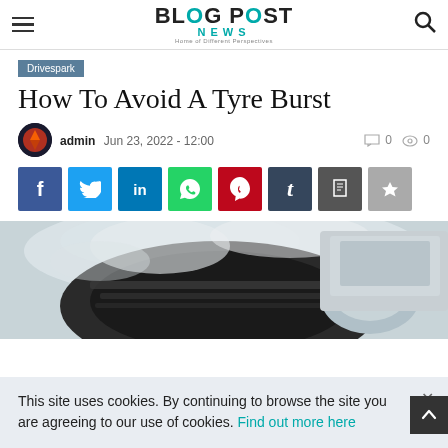BLOG POST NEWS — Home of Different Perspectives
How To Avoid A Tyre Burst
admin Jun 23, 2022 - 12:00  0  0
[Figure (screenshot): Social media share buttons: Facebook, Twitter, LinkedIn, WhatsApp, Pinterest, Tumblr, Print, Bookmark]
[Figure (photo): Close-up photo of a burst tyre with smoke/dust]
This site uses cookies. By continuing to browse the site you are agreeing to our use of cookies. Find out more here